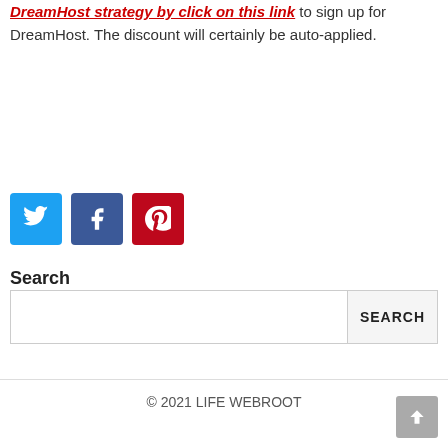DreamHost strategy by click on this link to sign up for DreamHost. The discount will certainly be auto-applied.
[Figure (other): Social sharing buttons: Twitter (blue), Facebook (dark blue), Pinterest (red)]
Search
SEARCH (search bar and button)
© 2021 LIFE WEBROOT